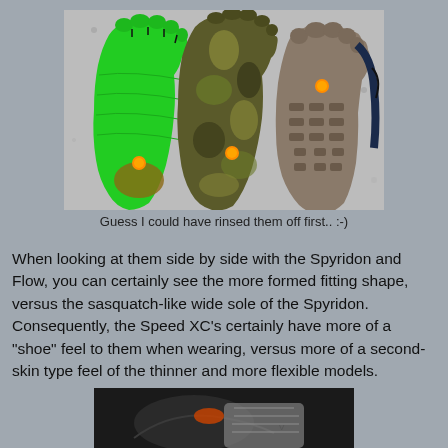[Figure (photo): Three Vibram FiveFingers shoes laid flat showing their soles side by side on a granite surface. Left shoe is bright green, middle is camouflage yellow/black, right is a more structured shoe showing the rubber sole with tread pattern. Each has an orange accent dot on the sole.]
Guess I could have rinsed them off first.. :-)
When looking at them side by side with the Spyridon and Flow, you can certainly see the more formed fitting shape, versus the sasquatch-like wide sole of the Spyridon.  Consequently, the Speed XC's certainly have more of a "shoe" feel to them when wearing, versus more of a second-skin type feel of the thinner and more flexible models.
[Figure (photo): Partial view of a person's feet wearing Vibram FiveFingers shoes, photographed from above at an angle in low light conditions.]